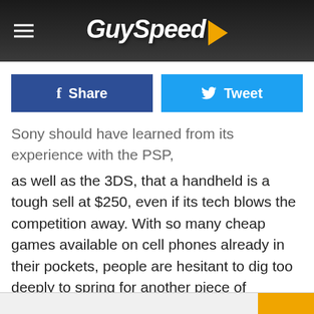GuySpeed
Sony should have learned from its experience with the PSP, as well as the 3DS, that a handheld is a tough sell at $250, even if its tech blows the competition away. With so many cheap games available on cell phones already in their pockets, people are hesitant to dig too deeply to spring for another piece of hardware.
CLICK HERE FOR MORE VIDEO GAME NEWS
Categories: Video Games